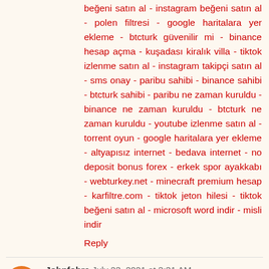beğeni satın al - instagram beğeni satın al - polen filtresi - google haritalara yer ekleme - btcturk güvenilir mi - binance hesap açma - kuşadası kiralık villa - tiktok izlenme satın al - instagram takipçi satın al - sms onay - paribu sahibi - binance sahibi - btcturk sahibi - paribu ne zaman kuruldu - binance ne zaman kuruldu - btcturk ne zaman kuruldu - youtube izlenme satın al - torrent oyun - google haritalara yer ekleme - altyapısız internet - bedava internet - no deposit bonus forex - erkek spor ayakkabı - webturkey.net - minecraft premium hesap - karfiltre.com - tiktok jeton hilesi - tiktok beğeni satın al - microsoft word indir - misli indir
Reply
Johnfobra July 23, 2021 at 3:31 AM
More impressive Blog!!! Its more useful for us...Thanks for sharing with us...
German Classes in Chennai
German Course in Chennai
German language Classes in Chennai
French Classes in Chennai
French Course in Chennai